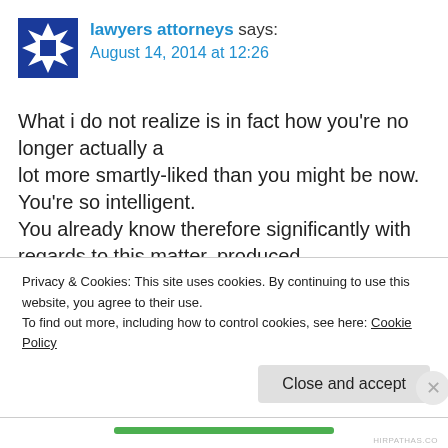[Figure (logo): Blue and white geometric snowflake/star avatar icon]
lawyers attorneys says:
August 14, 2014 at 12:26
What i do not realize is in fact how you're no longer actually a lot more smartly-liked than you might be now. You're so intelligent. You already know therefore significantly with regards to this matter, produced me individually believe it from numerous various angles. Its
Privacy & Cookies: This site uses cookies. By continuing to use this website, you agree to their use.
To find out more, including how to control cookies, see here: Cookie Policy
Close and accept